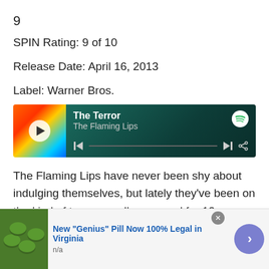9
SPIN Rating: 9 of 10
Release Date: April 16, 2013
Label: Warner Bros.
[Figure (screenshot): Spotify player widget showing 'The Terror' by The Flaming Lips with album art, play button, progress bar, and Spotify logo]
The Flaming Lips have never been shy about indulging themselves, but lately they've been on the kind of tear normally reserved for 13-year-old boys whose divorced parents have unlimited credit and unlimited guilt. Limited-
[Figure (screenshot): Advertisement banner: New "Genius" Pill Now 100% Legal in Virginia, with green pill image, n/a text, close button, and forward arrow button]